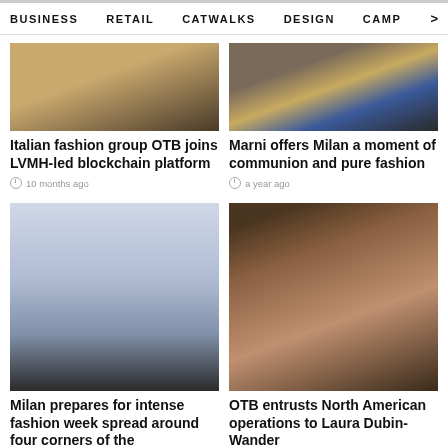BUSINESS   RETAIL   CATWALKS   DESIGN   CAMP >
[Figure (photo): Fashion runway photo showing models' legs and high heels on a wooden catwalk floor]
Italian fashion group OTB joins LVHM-led blockchain platform
10 months ago
[Figure (photo): Close-up of colorful fashion outfit with blue and yellow stripes/panels]
Marni offers Milan a moment of communion and pure fashion
a year ago
[Figure (photo): Fashion week runway show with models in white outfits walking past seated audience]
Milan prepares for intense fashion week spread around four corners of the
[Figure (photo): Professional headshot of a woman with brown curly hair smiling]
OTB entrusts North American operations to Laura Dubin-Wander